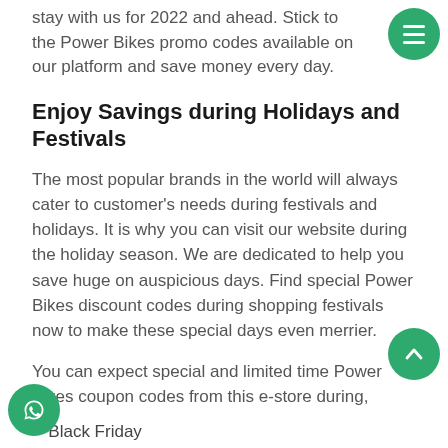stay with us for 2022 and ahead. Stick to the Power Bikes promo codes available on our platform and save money every day.
Enjoy Savings during Holidays and Festivals
The most popular brands in the world will always cater to customer's needs during festivals and holidays. It is why you can visit our website during the holiday season. We are dedicated to help you save huge on auspicious days. Find special Power Bikes discount codes during shopping festivals now to make these special days even merrier.
You can expect special and limited time Power Bikes coupon codes from this e-store during,
Black Friday
Cyber Monday
Labor Day
Christmas